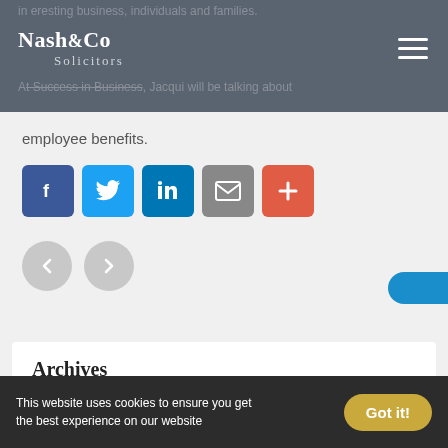Nash & Co Solicitors
employee benefits.
[Figure (infographic): Social sharing buttons: Facebook (blue), Twitter (cyan), LinkedIn (dark blue), Email (grey), More/Plus (red-orange)]
[Figure (infographic): Navigation arrows: left arrow and right arrow in grey circles]
Archives
June 2022
April 2022
March 2022
This website uses cookies to ensure you get the best experience on our website